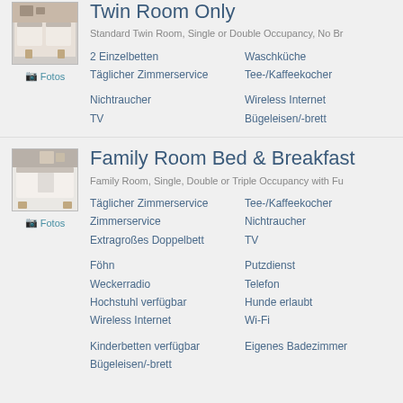Twin Room Only
Standard Twin Room, Single or Double Occupancy, No Br
[Figure (photo): Twin room hotel photo]
Fotos
2 Einzelbetten
Waschküche
Täglicher Zimmerservice
Tee-/Kaffeekocher
Nichtraucher
Wireless Internet
TV
Bügeleisen/-brett
Family Room Bed & Breakfast
Family Room, Single, Double or Triple Occupancy with Fu
[Figure (photo): Family room hotel photo]
Fotos
Täglicher Zimmerservice
Tee-/Kaffeekocher
Zimmerservice
Nichtraucher
Extragroßes Doppelbett
TV
Föhn
Putzdienst
Weckerradio
Telefon
Hochstuhl verfügbar
Hunde erlaubt
Wireless Internet
Wi-Fi
Kinderbetten verfügbar
Eigenes Badezimmer
Bügeleisen/-brett